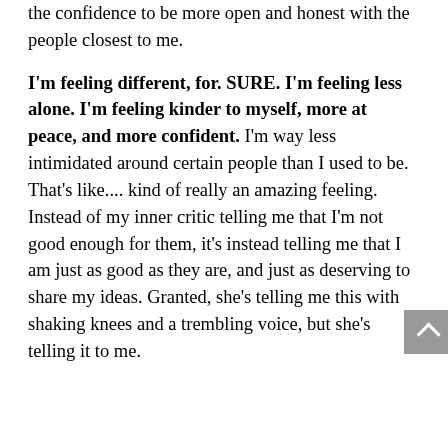the confidence to be more open and honest with the people closest to me.
I'm feeling different, for. SURE. I'm feeling less alone. I'm feeling kinder to myself, more at peace, and more confident. I'm way less intimidated around certain people than I used to be. That's like.... kind of really an amazing feeling. Instead of my inner critic telling me that I'm not good enough for them, it's instead telling me that I am just as good as they are, and just as deserving to share my ideas. Granted, she's telling me this with shaking knees and a trembling voice, but she's telling it to me.